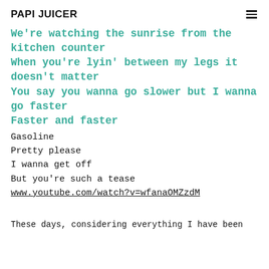PAPI JUICER
We're watching the sunrise from the kitchen counter
When you're lyin' between my legs it doesn't matter
You say you wanna go slower but I wanna go faster
Faster and faster
Gasoline
Pretty please
I wanna get off
But you're such a tease
www.youtube.com/watch?v=wfanaOMZzdM
These days, considering everything I have been